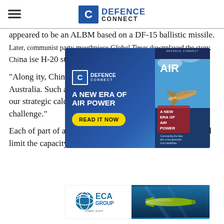Defence Connect
appeared to be an ALBM based on a DF-15 ballistic missile. Later, communist party mouthpiece Global Times downplayed the story. Chi... ...e H-20 stealth bo... ...mplex threat en...
[Figure (infographic): Defence Connect advertisement overlay: 'A NEW ERA OF AIR POWER' with READ IT NOW button and magazine cover showing jet fighter]
"Along... ...ity, China is... ...Asia and the... ...o airfields... ...aft closer to Australia. Such a development would fundamentally alter our strategic calculus and compound our air defence challenge."
Each of... ...part of an inte... ...m existing defence arrangements and limit the capacity of both
[Figure (infographic): ECA Group logo and underwater drone photo advertisement overlay]